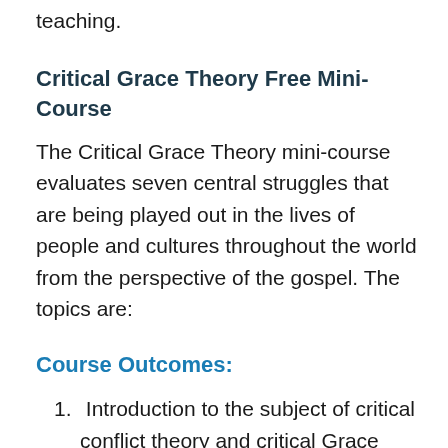teaching.
Critical Grace Theory Free Mini-Course
The Critical Grace Theory mini-course evaluates seven central struggles that are being played out in the lives of people and cultures throughout the world from the perspective of the gospel. The topics are:
Course Outcomes:
1. Introduction to the subject of critical conflict theory and critical Grace